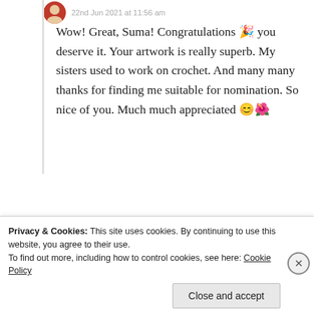22nd Jun 2021 at 11:56 am
Wow! Great, Suma! Congratulations 🎉 you deserve it. Your artwork is really superb. My sisters used to work on crochet. And many many thanks for finding me suitable for nomination. So nice of you. Much much appreciated 😊🌺
★ Liked by 2 people
Log in to Reply
Privacy & Cookies: This site uses cookies. By continuing to use this website, you agree to their use.
To find out more, including how to control cookies, see here: Cookie Policy
Close and accept